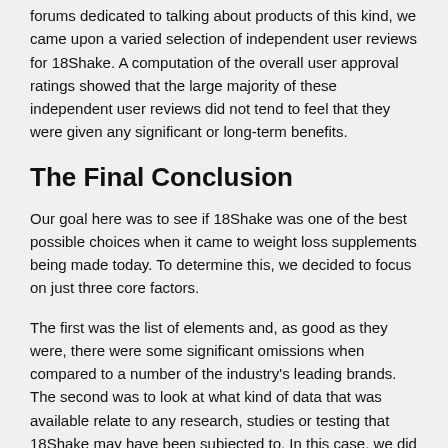forums dedicated to talking about products of this kind, we came upon a varied selection of independent user reviews for 18Shake. A computation of the overall user approval ratings showed that the large majority of these independent user reviews did not tend to feel that they were given any significant or long-term benefits.
The Final Conclusion
Our goal here was to see if 18Shake was one of the best possible choices when it came to weight loss supplements being made today. To determine this, we decided to focus on just three core factors.
The first was the list of elements and, as good as they were, there were some significant omissions when compared to a number of the industry's leading brands. The second was to look at what kind of data that was available relate to any research, studies or testing that 18Shake may have been subjected to. In this case, we did not locate any credible or verifiable evidence that would offer support to the many claims being made for the actual formulation in 18Shake. The third and last factor was based on the user comments and the fact that the majority of them did not feel that 18Shake measured